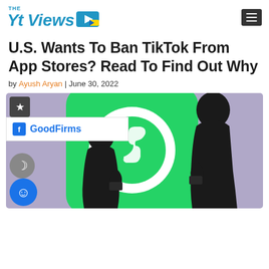The Yt Views
U.S. Wants To Ban TikTok From App Stores? Read To Find Out Why
by Ayush Aryan | June 30, 2022
[Figure (photo): Two silhouetted figures holding phones in front of a large green WhatsApp logo on a light purple background. Overlaid with GoodFirms badge, star badge, moon/dark mode button, and chat button.]